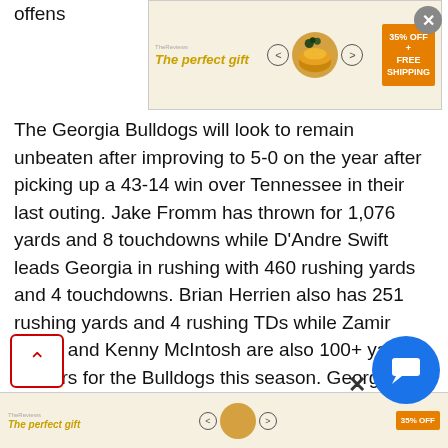[Figure (other): Advertisement banner at top: 'The perfect gift' with bowl image, navigation arrows, and '35% OFF + FREE SHIPPING' promo]
offens... on. The Georgia Bulldogs will look to remain unbeaten after improving to 5-0 on the year after picking up a 43-14 win over Tennessee in their last outing. Jake Fromm has thrown for 1,076 yards and 8 touchdowns while D'Andre Swift leads Georgia in rushing with 460 rushing yards and 4 touchdowns. Brian Herrien also has 251 rushing yards and 4 rushing TDs while Zamir White and Kenny McIntosh are also 100+ yard rushers for the Bulldogs this season. Georgia has six different receivers with at least 100+ receiving yards, led by Lawrence Cager who has 15 grabs for 197 yards and 3 touchdowns. Defensively, Monty Rice leads the Bulldogs with 26 total tackles while Mark Webb has 24 total tackles including 17 solo tackles and Azeez Ojuiari has 3.5 sacks this season. As a team, Georgia is averaging 512.6 yards of total offense and 42.8 po... per game while allowing 278.6 yards of total defense p...
[Figure (other): Advertisement banner at bottom: 'The perfect gift' with bowl image and '35% OFF' promo]